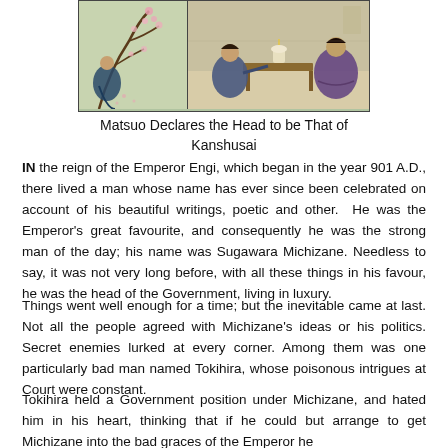[Figure (illustration): Two Japanese woodblock-style illustrations side by side: left panel shows a figure near flowering branches, right panel shows a seated figure at a low table with another figure.]
Matsuo Declares the Head to be That of Kanshusai
IN the reign of the Emperor Engi, which began in the year 901 A.D., there lived a man whose name has ever since been celebrated on account of his beautiful writings, poetic and other. He was the Emperor's great favourite, and consequently he was the strong man of the day; his name was Sugawara Michizane. Needless to say, it was not very long before, with all these things in his favour, he was the head of the Government, living in luxury.
Things went well enough for a time; but the inevitable came at last. Not all the people agreed with Michizane's ideas or his politics. Secret enemies lurked at every corner. Among them was one particularly bad man named Tokihira, whose poisonous intrigues at Court were constant.
Tokihira held a Government position under Michizane, and hated him in his heart, thinking that if he could but arrange to get Michizane into the bad graces of the Emperor he